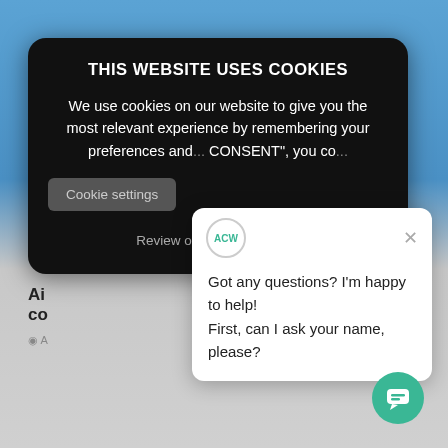[Figure (screenshot): Blue sky background behind a cookie consent modal and a chat widget popup overlay on a webpage.]
THIS WEBSITE USES COOKIES
We use cookies on our website to give you the most relevant experience by remembering your preferences and... CONSENT", you co...
Cookie settings
Review our Cookie Policies
Got any questions? I'm happy to help!
First, can I ask your name, please?
ACW
×